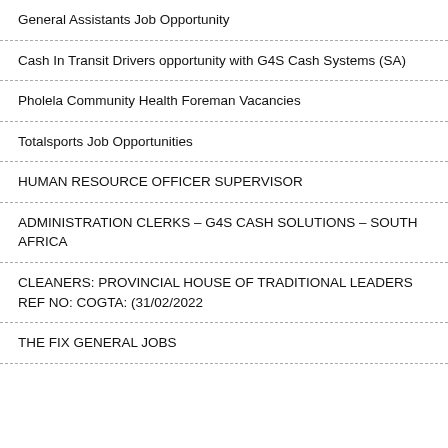General Assistants Job Opportunity
Cash In Transit Drivers opportunity with G4S Cash Systems (SA)
Pholela Community Health Foreman Vacancies
Totalsports Job Opportunities
HUMAN RESOURCE OFFICER SUPERVISOR
ADMINISTRATION CLERKS – G4S CASH SOLUTIONS – SOUTH AFRICA
CLEANERS: PROVINCIAL HOUSE OF TRADITIONAL LEADERS REF NO: COGTA: (31/02/2022
THE FIX GENERAL JOBS